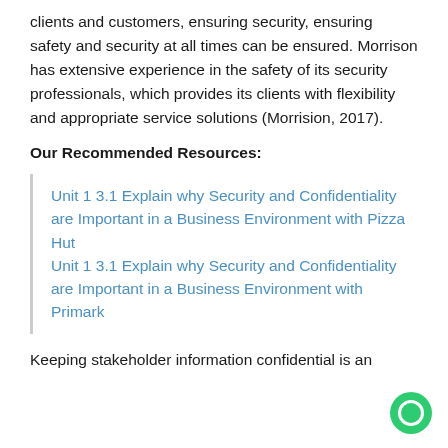clients and customers, ensuring security, ensuring safety and security at all times can be ensured. Morrison has extensive experience in the safety of its security professionals, which provides its clients with flexibility and appropriate service solutions (Morrision, 2017).
Our Recommended Resources:
Unit 1 3.1 Explain why Security and Confidentiality are Important in a Business Environment with Pizza Hut
Unit 1 3.1 Explain why Security and Confidentiality are Important in a Business Environment with Primark
Keeping stakeholder information confidential is an